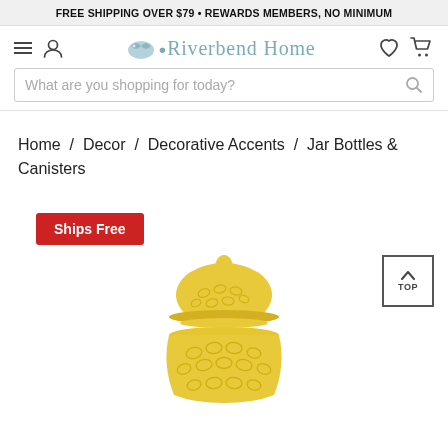FREE SHIPPING OVER $79 • REWARDS MEMBERS, NO MINIMUM
[Figure (logo): Riverbend Home logo with fish icon and stylized serif text]
What are you shopping for today?
Home / Decor / Decorative Accents / Jar Bottles & Canisters
Ships Free
[Figure (photo): Yellow ceramic decorative ginger jar with lattice cutwork lid and finial, partially cropped]